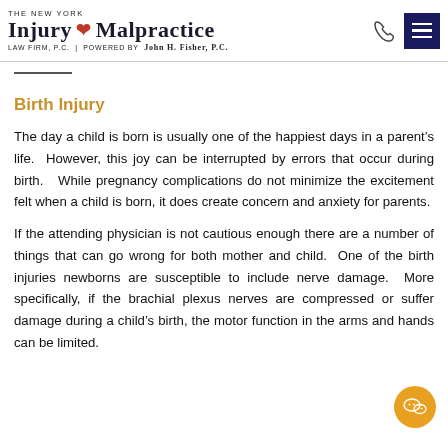THE NEW YORK INJURY & MALPRACTICE LAW FIRM, P.C. | POWERED BY JOHN H. FISHER, P.C.
Birth Injury
The day a child is born is usually one of the happiest days in a parent’s life.  However, this joy can be interrupted by errors that occur during birth.  While pregnancy complications do not minimize the excitement felt when a child is born, it does create concern and anxiety for parents.
If the attending physician is not cautious enough there are a number of things that can go wrong for both mother and child.  One of the birth injuries newborns are susceptible to include nerve damage.  More specifically, if the brachial plexus nerves are compressed or suffer damage during a child’s birth, the motor function in the arms and hands can be limited.